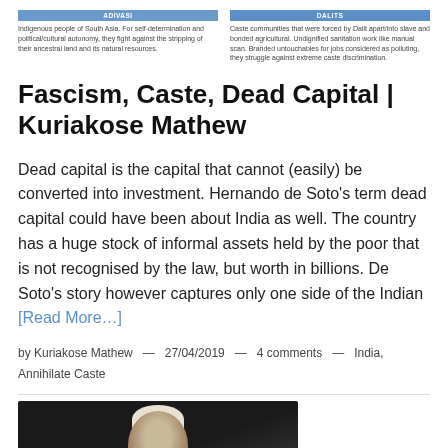[Figure (other): Two category cards: ADIVASI and DALITS with short descriptive text about each group]
Fascism, Caste, Dead Capital | Kuriakose Mathew
Dead capital is the capital that cannot (easily) be converted into investment. Hernando de Soto's term dead capital could have been about India as well. The country has a huge stock of informal assets held by the poor that is not recognised by the law, but worth in billions. De Soto's story however captures only one side of the Indian [Read More...]
by Kuriakose Mathew  —  27/04/2019  —  4 comments  —  India, Annihilate Caste
[Figure (photo): Black and white photo of a person with white/grey hair, cropped at the head and shoulders, dark background]